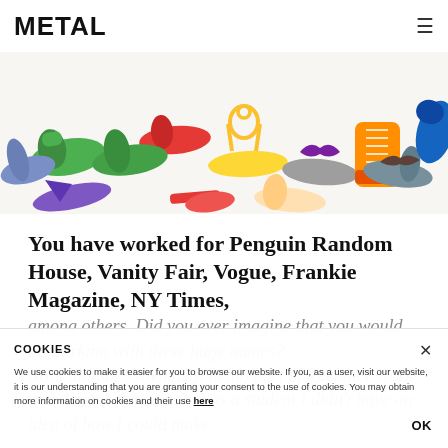METAL
[Figure (illustration): Colorful illustrated shoes including green flats, red flats, blue heels, yellow sandals, yellow heels, orange ankle boots, purple heels, green-blue flats on a white background]
You have worked for Penguin Random House, Vanity Fair, Vogue, Frankie Magazine, NY Times, among others. Did you ever imagine that you would be working with these huge names?
No, I did not. Obviously, being part of freelance work was always the goal, but as a student I didn't have an idea of how I could make
COOKIES
We use cookies to make it easier for you to browse our website. If you, as a user, visit our website, it is our understanding that you are granting your consent to the use of cookies. You may obtain more information on cookies and their use here
OK